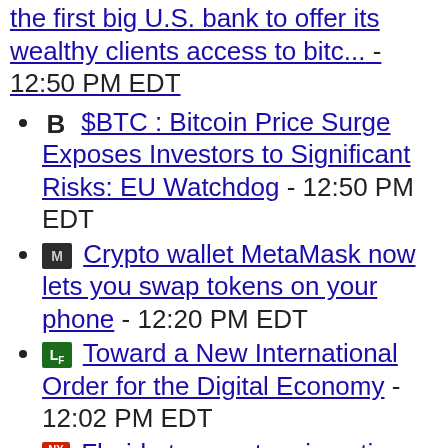the first big U.S. bank to offer its wealthy clients access to bitc... - 12:50 PM EDT
B $BTC : Bitcoin Price Surge Exposes Investors to Significant Risks: EU Watchdog - 12:50 PM EDT
[MetaMask icon] Crypto wallet MetaMask now lets you swap tokens on your phone - 12:20 PM EDT
[LF icon] Toward a New International Order for the Digital Economy - 12:02 PM EDT
[NY icon] Florida teen gets prison time for massive celebrity Twitter hack - 11:48 AM EDT